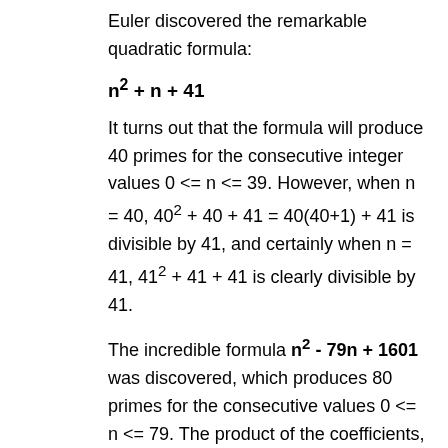Euler discovered the remarkable quadratic formula:
It turns out that the formula will produce 40 primes for the consecutive integer values 0 <= n <= 39. However, when n = 40, 40² + 40 + 41 = 40(40+1) + 41 is divisible by 41, and certainly when n = 41, 41² + 41 + 41 is clearly divisible by 41.
The incredible formula n² - 79n + 1601 was discovered, which produces 80 primes for the consecutive values 0 <= n <= 79. The product of the coefficients, −79 and 1601, is −126479.
Considering quadratics of the form: